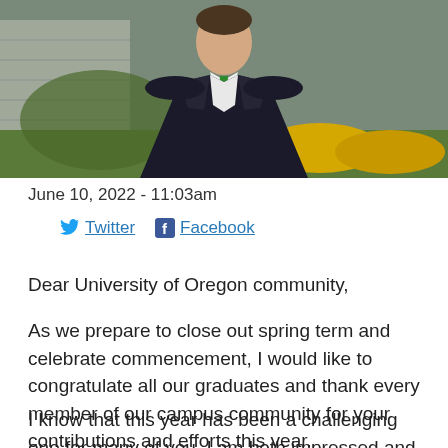[Figure (photo): A man in a dark suit with a green tie, photographed outdoors with yellow flowers in the background. Appears to be a university president or official.]
June 10, 2022 - 11:03am
Twitter  Facebook
Dear University of Oregon community,
As we prepare to close out spring term and celebrate commencement, I would like to congratulate all our graduates and thank every member of our campus community for your contributions and efforts this year.
I know that this year has been a challenging one for many of you. I am both impressed and grateful for the way you surmounted these challenges. I am also extremely proud